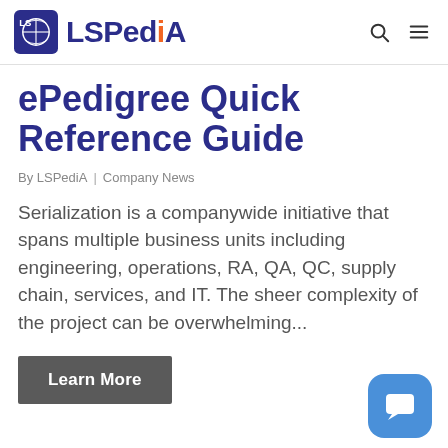LSPediA
ePedigree Quick Reference Guide
By LSPediA | Company News
Serialization is a companywide initiative that spans multiple business units including engineering, operations, RA, QA, QC, supply chain, services, and IT. The sheer complexity of the project can be overwhelming...
Learn More